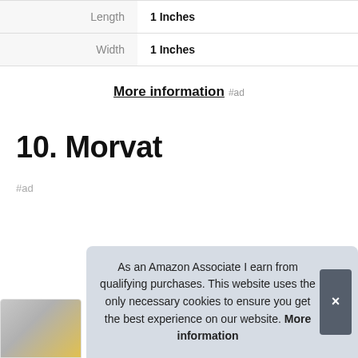| Length | 1 Inches |
| Width | 1 Inches |
More information #ad
10. Morvat
#ad
As an Amazon Associate I earn from qualifying purchases. This website uses the only necessary cookies to ensure you get the best experience on our website. More information